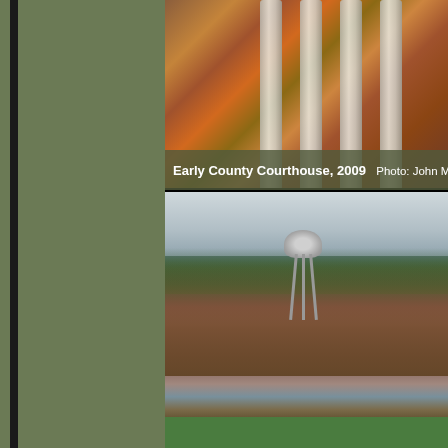[Figure (photo): Close-up photograph of Early County Courthouse brick facade with large stone columns, taken in 2009 at golden hour lighting]
Early County Courthouse, 2009  Photo: John M...
[Figure (photo): Aerial view of a small downtown area showing brick commercial buildings, a water tower, roads, parked vehicles, trees, and a grassy area in the foreground]